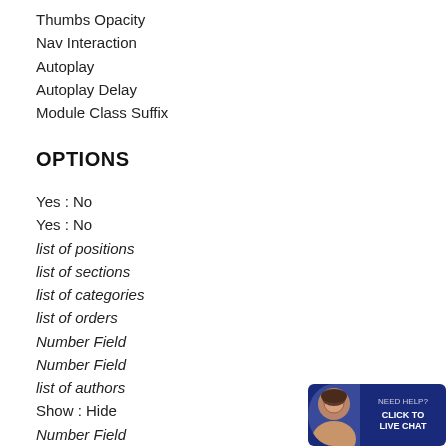Thumbs Opacity
Nav Interaction
Autoplay
Autoplay Delay
Module Class Suffix
OPTIONS
Yes : No
Yes : No
list of positions
list of sections
list of categories
list of orders
Number Field
Number Field
list of authors
Show : Hide
Number Field
Number Field
Click : Hover
Yes : No